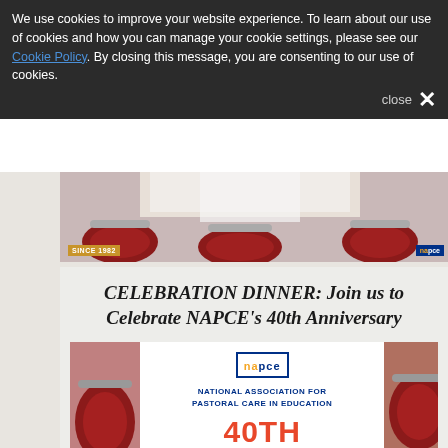We use cookies to improve your website experience. To learn about our use of cookies and how you can manage your cookie settings, please see our Cookie Policy. By closing this message, you are consenting to our use of cookies.
close ✕
[Figure (photo): Banquet hall chairs with red upholstery, set for a dinner event. NAPCE logo and 'SINCE 1982' badge visible.]
CELEBRATION DINNER: Join us to Celebrate NAPCE's 40th Anniversary
[Figure (infographic): NAPCE 40th Anniversary Dinner flyer. Shows NAPCE logo, 'National Association for Pastoral Care in Education', and large red text '40TH ANNIVERSARY DINNER'. Flanked by photos of red banquet chairs.]